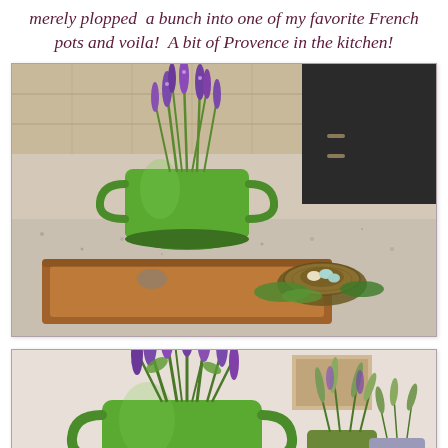merely plopped  a bunch into one of my favorite French pots and voila!  A bit of Provence in the kitchen!
[Figure (photo): A green French pot with purple lavender flowers sits on a wooden tray on a granite kitchen countertop. A bird's nest with speckled eggs and green leaves is placed on the tray beside the pot.]
[Figure (photo): A close-up of a green French pot with handles filled with purple lavender flowers, alongside smaller potted herb plants in the background on a table.]